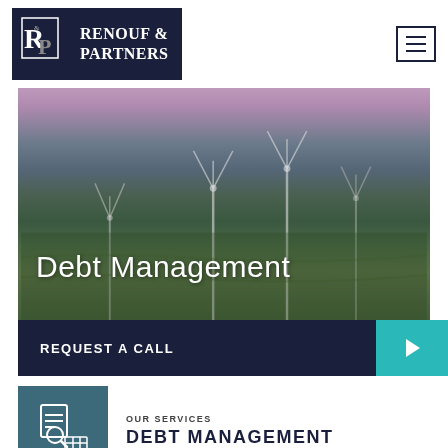[Figure (logo): Renouf & Partners logo — white R&P monogram on dark navy background with company name in white serif font]
[Figure (photo): Aerial drone photograph of green agricultural fields with wind turbines at dusk/twilight, purple-pink sky, with overlay text 'Debt Management']
Debt Management
REQUEST A CALL
OUR SERVICES
DEBT MANAGEMENT
By building a plan for how you regularly manage